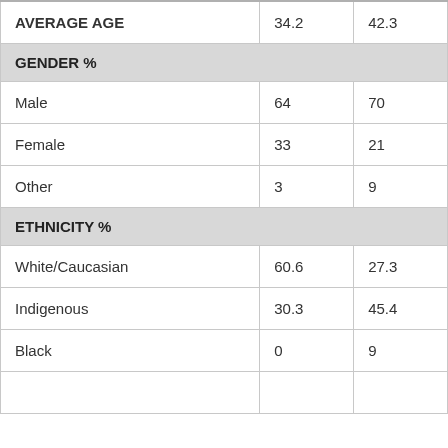|  | Col1 | Col2 |
| --- | --- | --- |
| AVERAGE AGE | 34.2 | 42.3 |
| GENDER % |  |  |
| Male | 64 | 70 |
| Female | 33 | 21 |
| Other | 3 | 9 |
| ETHNICITY % |  |  |
| White/Caucasian | 60.6 | 27.3 |
| Indigenous | 30.3 | 45.4 |
| Black | 0 | 9 |